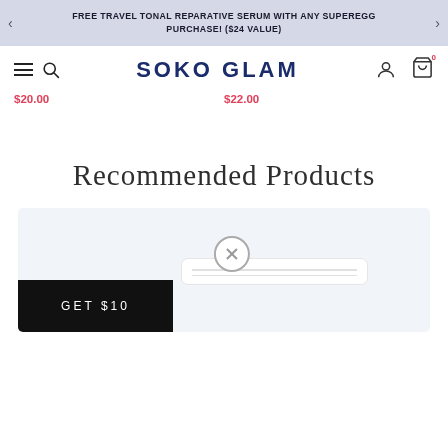FREE TRAVEL TONAL REPARATIVE SERUM WITH ANY SUPEREGG PURCHASE! ($24 VALUE)
SOKO GLAM
$20.00   $22.00
Recommended Products
[Figure (screenshot): Product card area showing a close button (circle with X), an email input box overlay, and a GET $10 promotional bar at the bottom left]
GET $10